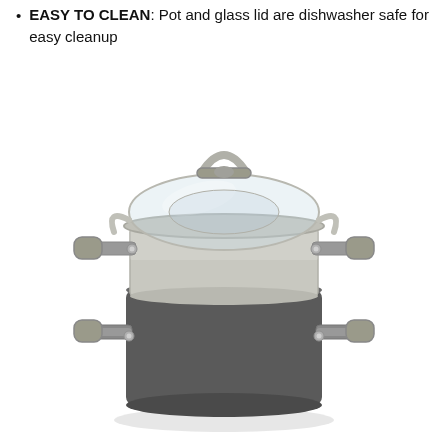EASY TO CLEAN: Pot and glass lid are dishwasher safe for easy cleanup
[Figure (photo): A gray hard-anodized 3-piece steamer pot set with glass lid and stainless steel steamer insert. The pot has two loop handles with gray silicone grips, the steamer basket sits on top of the pot with similar handles, and a clear glass lid with a gray silicone handle sits on top. The cookware has a dark charcoal gray exterior and silver/stainless interior steamer.]